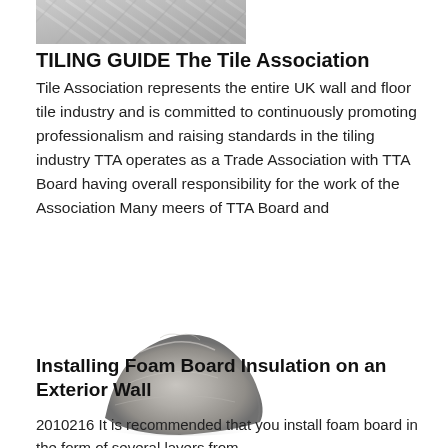[Figure (photo): A photo showing a diagonal wood or tile texture pattern, gray/metallic tones, cropped at top of page.]
TILING GUIDE The Tile Association
Tile Association represents the entire UK wall and floor tile industry and is committed to continuously promoting professionalism and raising standards in the tiling industry TTA operates as a Trade Association with TTA Board having overall responsibility for the work of the Association Many meers of TTA Board and
[Figure (photo): A photo of a mound/pile of gray cement or tile adhesive powder on a white background.]
Installing Foam Board Insulation on an Exterior Wall
2010216 It is recommended that you install foam board in the form of several layers from